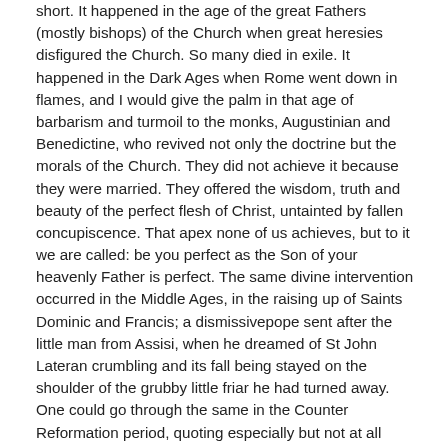short. It happened in the age of the great Fathers (mostly bishops) of the Church when great heresies disfigured the Church. So many died in exile. It happened in the Dark Ages when Rome went down in flames, and I would give the palm in that age of barbarism and turmoil to the monks, Augustinian and Benedictine, who revived not only the doctrine but the morals of the Church. They did not achieve it because they were married. They offered the wisdom, truth and beauty of the perfect flesh of Christ, untainted by fallen concupiscence. That apex none of us achieves, but to it we are called: be you perfect as the Son of your heavenly Father is perfect. The same divine intervention occurred in the Middle Ages, in the raising up of Saints Dominic and Francis; a dismissivepope sent after the little man from Assisi, when he dreamed of St John Lateran crumbling and its fall being stayed on the shoulder of the grubby little friar he had turned away. One could go through the same in the Counter Reformation period, quoting especially but not at all exclusively, the Jesuits. After the Council of Trent, we see the growth of a much better educated, and a spiritually more chaste and apostolic diocesan clergy. It needs to be the same now. As personal purity in the young, in marriage, yes and among many priests declines, it is not the time for 'concessions'. The tide will be turned only by a living that is holier, but also more sure of its 'reasons why.' At no time in the past has vision and wisdom, no matter how great, h...